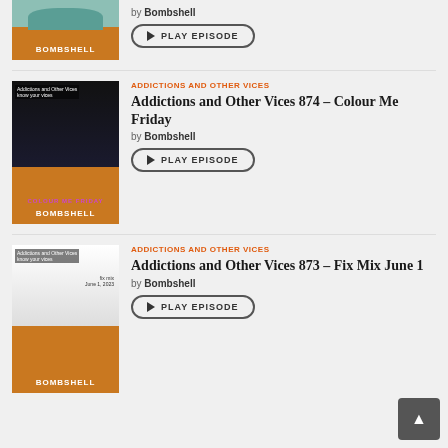[Figure (photo): Podcast episode thumbnail showing a teal/mint VW Beetle car with Bombshell Radio branding in orange at the bottom]
Vices 875 – Fix Mix June 8
by Bombshell
▶ PLAY EPISODE
[Figure (photo): Podcast episode thumbnail for Addictions and Other Vices showing dark space background with animal figure and COLOUR ME FRIDAY text, Bombshell Radio branding]
ADDICTIONS AND OTHER VICES
Addictions and Other Vices 874 – Colour Me Friday
by Bombshell
▶ PLAY EPISODE
[Figure (photo): Podcast episode thumbnail for Addictions and Other Vices showing person with guitar silhouette and fix mix June 1, 2023 text, Bombshell Radio branding]
ADDICTIONS AND OTHER VICES
Addictions and Other Vices 873 – Fix Mix June 1
by Bombshell
▶ PLAY EPISODE